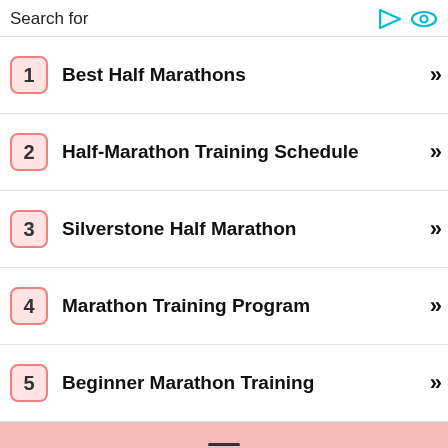Search for
1  Best Half Marathons
2  Half-Marathon Training Schedule
3  Silverstone Half Marathon
4  Marathon Training Program
5  Beginner Marathon Training
[Figure (illustration): Pink menu/hamburger bar with three horizontal lines]
[Figure (logo): Runs With Pugs cursive script logo]